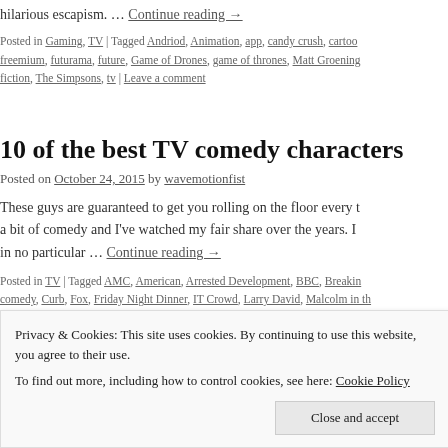hilarious escapism. … Continue reading →
Posted in Gaming, TV | Tagged Andriod, Animation, app, candy crush, cartoon, freemium, futurama, future, Game of Drones, game of thrones, Matt Groening, fiction, The Simpsons, tv | Leave a comment
10 of the best TV comedy characters
Posted on October 24, 2015 by wavemotionfist
These guys are guaranteed to get you rolling on the floor every time. I enjoy a bit of comedy and I've watched my fair share over the years. Here are my top 10 in no particular … Continue reading →
Posted in TV | Tagged AMC, American, Arrested Development, BBC, Breaking Bad, comedy, Curb, Fox, Friday Night Dinner, IT Crowd, Larry David, Malcolm in the Middle, Scrubs, Steve Carell, The Office, Trailer Park Boys, tv, Zach Braff | 2 Comments
Privacy & Cookies: This site uses cookies. By continuing to use this website, you agree to their use. To find out more, including how to control cookies, see here: Cookie Policy
Close and accept